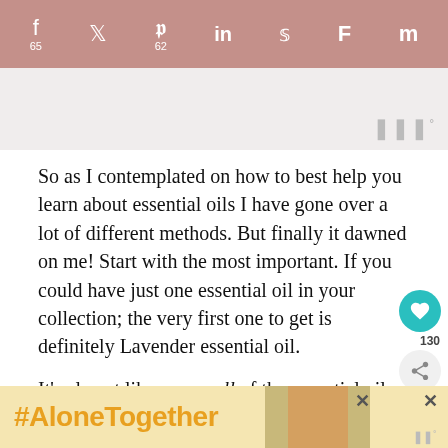Social share bar: Facebook 65, Twitter, Pinterest 62, LinkedIn, Reddit, Flipboard, Mix
[Figure (screenshot): Light grey image box with a watermark icon in the bottom right corner]
So as I contemplated on how to best help you learn about essential oils I have gone over a lot of different methods. But finally it dawned on me! Start with the most important. If you could have just one essential oil in your collection; the very first one to get is definitely Lavender essential oil.
It’s almost like a cure all of the essential oil world. There are hundreds of ways to use lavender essential oil. Lavender oil is antiseptic, diuretic, an expectorant, emmenagogue, and antiparasitic. And Lavender is safe to
[Figure (screenshot): Bottom ad banner with #AloneTogether text and a photo of a woman, with close buttons and a watermark]